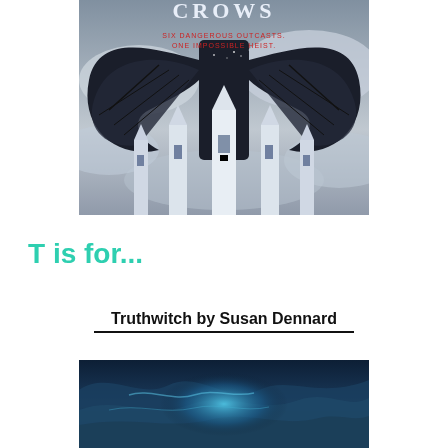[Figure (illustration): Book cover of 'Six of Crows' by Leigh Bardugo — dark winged figure silhouette against cloudy sky with gothic towers, text reads 'Six Dangerous Outcasts. One Impossible Heist.']
T is for...
Truthwitch by Susan Dennard
[Figure (illustration): Partial book cover of 'Truthwitch' by Susan Dennard — dark blue/teal ocean waves imagery, bottom portion visible]